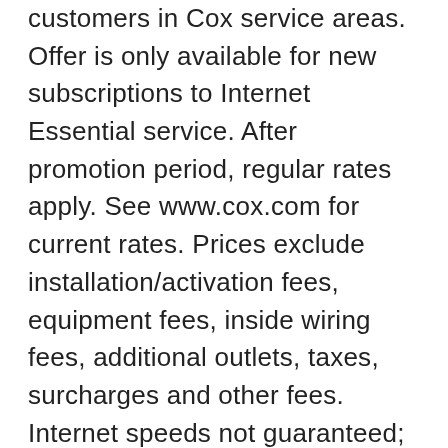customers in Cox service areas. Offer is only available for new subscriptions to Internet Essential service. After promotion period, regular rates apply. See www.cox.com for current rates. Prices exclude installation/activation fees, equipment fees, inside wiring fees, additional outlets, taxes, surcharges and other fees. Internet speeds not guaranteed; actual speeds vary. See www.cox.com/internetdisclosures for complete Cox Internet Disclosures. A credit check and/or deposit may be required. Offer may not be combined with other offers. Online orders only.
[Figure (other): Live help chat button with chat bubble icon]